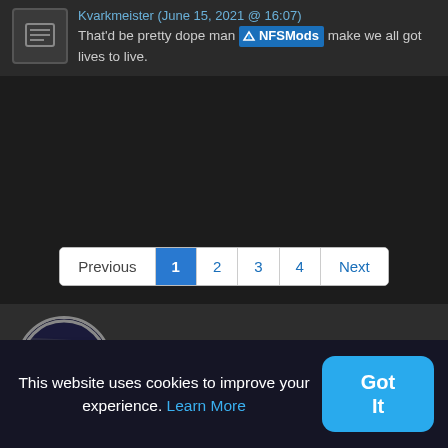Kvarkmeister (June 15, 2021 @ 16:07) That'd be pretty dope man [NFSMods] make we all got lives to live.
[Figure (screenshot): Pagination bar with Previous, 1 (active/blue), 2, 3, 4, Next buttons]
hypeeerspeed
[Figure (photo): Circular user avatar photo showing a bird/animal in motion blur]
This website uses cookies to improve your experience. Learn More
Got It